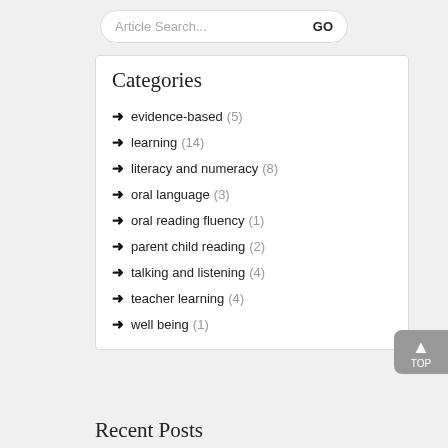Article Search... GO
Categories
→ evidence-based (5)
→ learning (14)
→ literacy and numeracy (8)
→ oral language (3)
→ oral reading fluency (1)
→ parent child reading (2)
→ talking and listening (4)
→ teacher learning (4)
→ well being (1)
Recent Posts